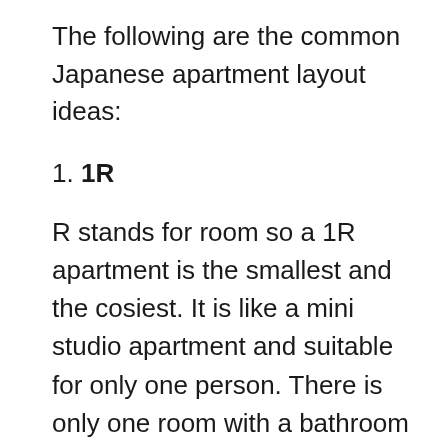The following are the common Japanese apartment layout ideas:
1. 1R
R stands for room so a 1R apartment is the smallest and the cosiest. It is like a mini studio apartment and suitable for only one person. There is only one room with a bathroom and a kitchen which are directly accessible. Some apartments have a door for the toilet, but some don’t even have enough space for that. There is also no space to add a mezzanine or loft floor in an 1R Japanese